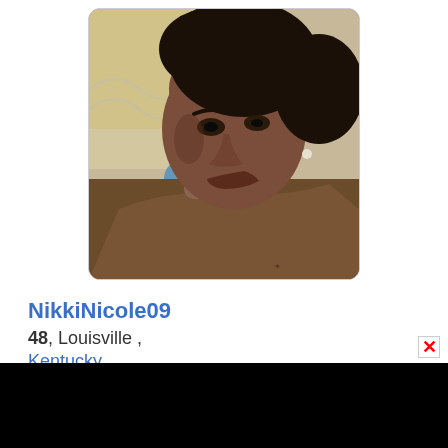[Figure (photo): Profile photo of NikkiNicole09, a woman with natural curly black hair pulled back, wearing a brown top, looking at camera in a selfie-style photo]
NikkiNicole09
48, Louisville, Kentucky
[Figure (photo): Partial photo of another profile, showing top of a person's head with reddish-brown hair, cropped by the black bar at bottom of screen]